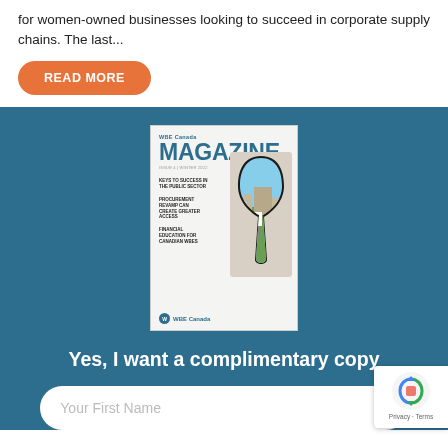for women-owned businesses looking to succeed in corporate supply chains. The last...
READ MORE
[Figure (illustration): WBE Canada Magazine cover featuring a keyhole design with a view of a building and Canadian flag, with article headlines about public sector success, procurement revamp, and financial education for Canadian WBEs.]
Yes, I want a complimentary copy
Your First Name